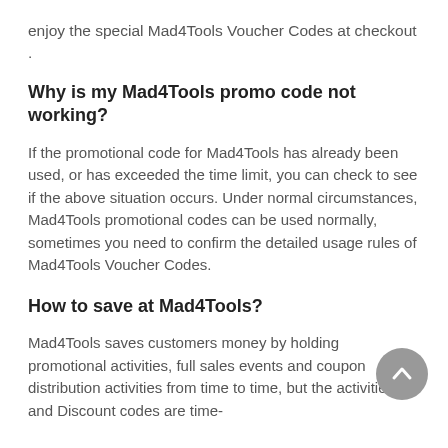enjoy the special Mad4Tools Voucher Codes at checkout .
Why is my Mad4Tools promo code not working?
If the promotional code for Mad4Tools has already been used, or has exceeded the time limit, you can check to see if the above situation occurs. Under normal circumstances, Mad4Tools promotional codes can be used normally, sometimes you need to confirm the detailed usage rules of Mad4Tools Voucher Codes.
How to save at Mad4Tools?
Mad4Tools saves customers money by holding promotional activities, full sales events and coupon distribution activities from time to time, but the activities and Discount codes are time-